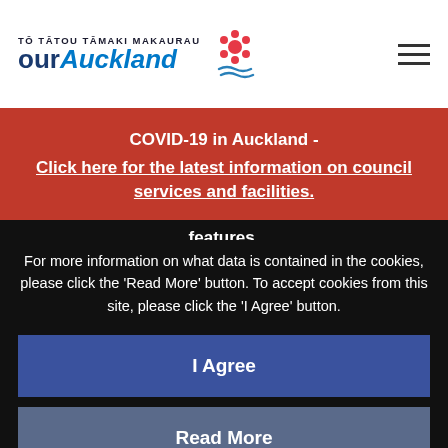TŌ TĀTOU TĀMAKI MAKAURAU our Auckland
COVID-19 in Auckland - Click here for the latest information on council services and facilities.
This website requires cookies to provide all of its features.
For more information on what data is contained in the cookies, please click the 'Read More' button. To accept cookies from this site, please click the 'I Agree' button.
I Agree
Read More